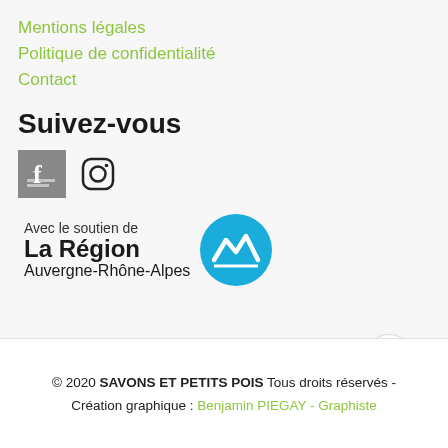Mentions légales
Politique de confidentialité
Contact
Suivez-vous
[Figure (logo): Facebook icon (grey square background with white f logo) and Instagram icon]
[Figure (logo): Auvergne-Rhône-Alpes region logo: blue circle with white mountain/wave symbol]
Avec le soutien de La Région Auvergne-Rhône-Alpes
© 2020 SAVONS ET PETITS POIS Tous droits réservés - Création graphique : Benjamin PIEGAY - Graphiste